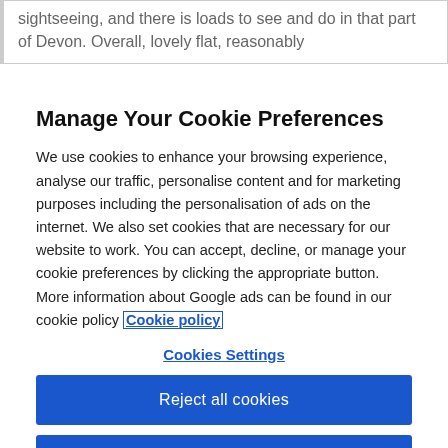sightseeing, and there is loads to see and do in that part of Devon. Overall, lovely flat, reasonably
Manage Your Cookie Preferences
We use cookies to enhance your browsing experience, analyse our traffic, personalise content and for marketing purposes including the personalisation of ads on the internet. We also set cookies that are necessary for our website to work. You can accept, decline, or manage your cookie preferences by clicking the appropriate button. More information about Google ads can be found in our cookie policy Cookie policy
Cookies Settings
Reject all cookies
Accept all cookies